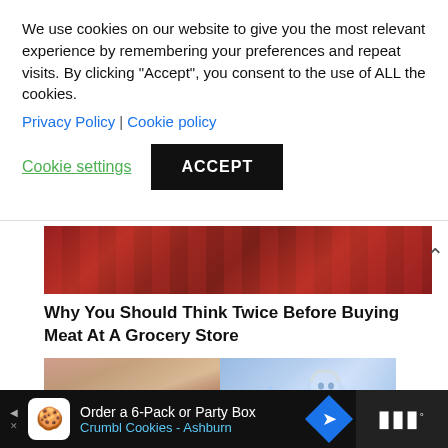We use cookies on our website to give you the most relevant experience by remembering your preferences and repeat visits. By clicking “Accept”, you consent to the use of ALL the cookies.
Privacy Policy | Cookie policy
Cookie settings
ACCEPT
[Figure (photo): Close-up photo of red meat packages on a grocery store shelf]
Why You Should Think Twice Before Buying Meat At A Grocery Store
[Figure (photo): Asian family with grandparents, parents and children gathered together looking at something]
[Figure (photo): Animated character Elsa from Frozen looking upward with a worried expression]
182
[Figure (photo): Advertisement bar: Order a 6-Pack or Party Box - Crumbl Cookies - Ashburn]